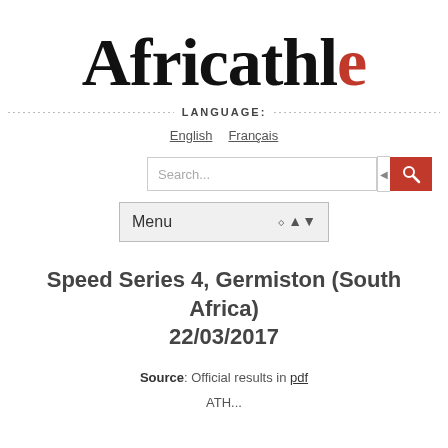Africathle
LANGUAGE:
English  Français
[Figure (screenshot): Search bar with red search button]
[Figure (screenshot): Menu dropdown selector]
Speed Series 4, Germiston (South Africa) 22/03/2017
Source: Official results in pdf